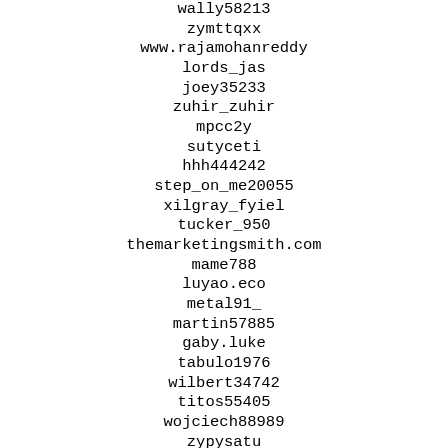wally58213
zymttqxx
www.rajamohanreddy
lords_jas
joey35233
zuhir_zuhir
mpcc2y
sutyceti
hhh444242
step_on_me20055
xilgray_fyiel
tucker_950
themarketingsmith.com
mame788
luyao.eco
metal91_
martin57885
gaby.luke
tabulo1976
wilbert34742
titos55405
wojciech88989
zypysatu
winalwaz
yan890815
thaddeus39008
wilton58993
shaoyong0403492002
lolaloves69nmo
yeison.stiven.roman.bolivar
133stool